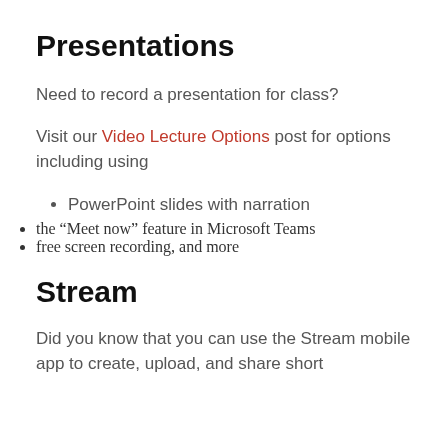Presentations
Need to record a presentation for class?
Visit our Video Lecture Options post for options including using
PowerPoint slides with narration
the “Meet now” feature in Microsoft Teams
free screen recording, and more
Stream
Did you know that you can use the Stream mobile app to create, upload, and share short